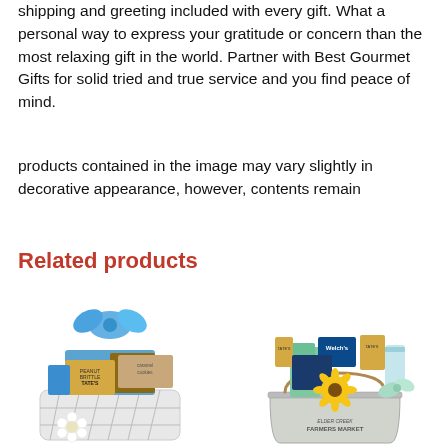shipping and greeting included with every gift. What a personal way to express your gratitude or concern than the most relaxing gift in the world. Partner with Best Gourmet Gifts for solid tried and true service and you find peace of mind.
products contained in the image may vary slightly in decorative appearance, however, contents remain
Related products
[Figure (photo): Gift basket with blue bow, peanut brittle, caramel treats, and white flowers in a white lattice basket]
[Figure (photo): Farmers market themed gift bucket with sunflower, Welch's snacks, and various treats in a metal bucket labeled Farmers Market]